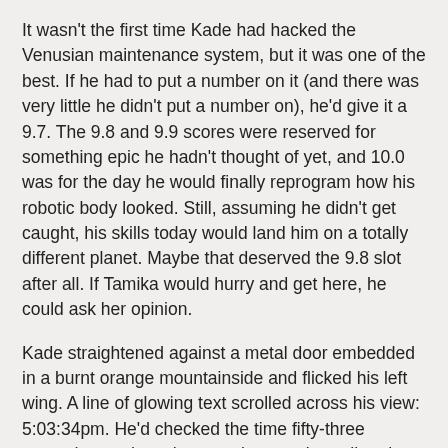It wasn't the first time Kade had hacked the Venusian maintenance system, but it was one of the best. If he had to put a number on it (and there was very little he didn't put a number on), he'd give it a 9.7. The 9.8 and 9.9 scores were reserved for something epic he hadn't thought of yet, and 10.0 was for the day he would finally reprogram how his robotic body looked. Still, assuming he didn't get caught, his skills today would land him on a totally different planet. Maybe that deserved the 9.8 slot after all. If Tamika would hurry and get here, he could ask her opinion.
Kade straightened against a metal door embedded in a burnt orange mountainside and flicked his left wing. A line of glowing text scrolled across his view: 5:03:34pm. He'd checked the time fifty-three seconds ago, but whenever he wasn't reading data, he felt lost. The adults called it unhealthy. Healthy people could watch a sunset without calculating its luminosity every thirty seconds. Healthy people sounded boring. Besides, the numbers comforted him. Nobody got weirded out by constantly seeing their own hands, did they? His numbers were just that--an extra set of